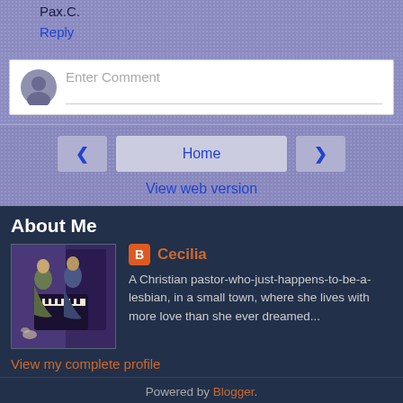Pax.C.
Reply
[Figure (screenshot): Comment input box with grey avatar icon and 'Enter Comment' placeholder text]
[Figure (screenshot): Navigation bar with left arrow, Home button, right arrow, and 'View web version' link]
About Me
[Figure (illustration): Pre-Raphaelite style painting of two women, one seated at a piano]
Cecilia
A Christian pastor-who-just-happens-to-be-a-lesbian, in a small town, where she lives with more love than she ever dreamed...
View my complete profile
Powered by Blogger.